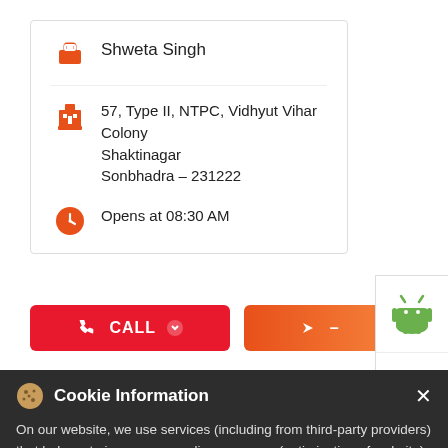Shweta Singh
57, Type II, NTPC, Vidhyut Vihar Colony Shaktinagar Sonbhadra - 231222
Opens at 08:30 AM
[Figure (screenshot): CALL button (red) and navigation button (orange)]
[Figure (screenshot): Android and Apple app store icons on white panel]
Cookie Information
On our website, we use services (including from third-party providers) that help us to improve our online presence (optimization of website) and to display content that is geared to their interests. We need your consent before being able to use these services.
Book Uber to Sharekhan
T&C Apply